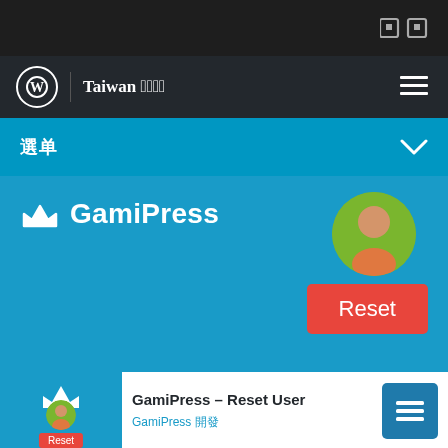Top navigation bar with WordPress logo, Taiwan site title, and hamburger menu
選單 (menu) section with dropdown chevron
[Figure (screenshot): GamiPress plugin hero banner with crown logo, GamiPress title, user avatar, and Reset button]
[Figure (screenshot): Plugin card for GamiPress – Reset User with thumbnail, title, and author GamiPress 開發]